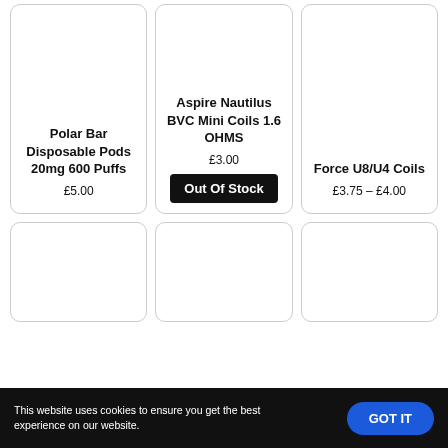[Figure (screenshot): Product card: Polar Bar Disposable Pods 20mg 600 Puffs, price £5.00]
Polar Bar Disposable Pods 20mg 600 Puffs
£5.00
[Figure (screenshot): Product card: Aspire Nautilus BVC Mini Coils 1.6 OHMS, price £3.00, Out Of Stock]
Aspire Nautilus BVC Mini Coils 1.6 OHMS
£3.00
Out Of Stock
[Figure (screenshot): Product card: Force U8/U4 Coils, price £3.75 – £4.00]
Force U8/U4 Coils
£3.75 – £4.00
This website uses cookies to ensure you get the best experience on our website.